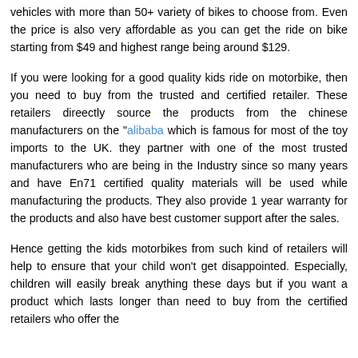vehicles with more than 50+ variety of bikes to choose from. Even the price is also very affordable as you can get the ride on bike starting from $49 and highest range being around $129.
If you were looking for a good quality kids ride on motorbike, then you need to buy from the trusted and certified retailer. These retailers direectly source the products from the chinese manufacturers on the "alibaba which is famous for most of the toy imports to the UK. they partner with one of the most trusted manufacturers who are being in the Industry since so many years and have En71 certified quality materials will be used while manufacturing the products. They also provide 1 year warranty for the products and also have best customer support after the sales.
Hence getting the kids motorbikes from such kind of retailers will help to ensure that your child won't get disappointed. Especially, children will easily break anything these days but if you want a product which lasts longer than need to buy from the certified retailers who offer the